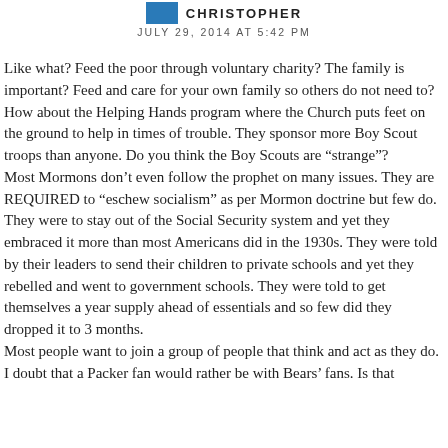CHRISTOPHER
JULY 29, 2014 AT 5:42 PM
Like what? Feed the poor through voluntary charity? The family is important? Feed and care for your own family so others do not need to? How about the Helping Hands program where the Church puts feet on the ground to help in times of trouble. They sponsor more Boy Scout troops than anyone. Do you think the Boy Scouts are “strange”?
Most Mormons don’t even follow the prophet on many issues. They are REQUIRED to “eschew socialism” as per Mormon doctrine but few do. They were to stay out of the Social Security system and yet they embraced it more than most Americans did in the 1930s. They were told by their leaders to send their children to private schools and yet they rebelled and went to government schools. They were told to get themselves a year supply ahead of essentials and so few did they dropped it to 3 months.
Most people want to join a group of people that think and act as they do. I doubt that a Packer fan would rather be with Bears’ fans. Is that